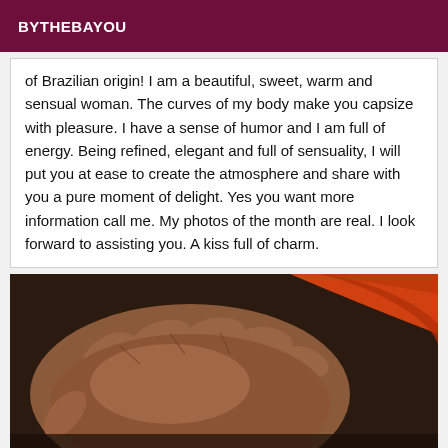BYTHEBAYOU
of Brazilian origin! I am a beautiful, sweet, warm and sensual woman. The curves of my body make you capsize with pleasure. I have a sense of humor and I am full of energy. Being refined, elegant and full of sensuality, I will put you at ease to create the atmosphere and share with you a pure moment of delight. Yes you want more information call me. My photos of the month are real. I look forward to assisting you. A kiss full of charm.
[Figure (photo): Close-up photograph of hands touching skin, with an orange and dark background.]